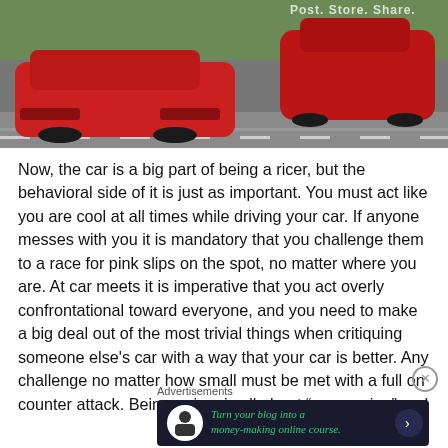[Figure (photo): Two red sports cars racing on a track, viewed from behind, with a grassy area visible in the background. A watermark reading 'Post. Store. Share.' is visible in the upper right.]
Now, the car is a big part of being a ricer, but the behavioral side of it is just as important. You must act like you are cool at all times while driving your car. If anyone messes with you it is mandatory that you challenge them to a race for pink slips on the spot, no matter where you are. At car meets it is imperative that you act overly confrontational toward everyone, and you need to make a big deal out of the most trivial things when critiquing someone else's car with a way that your car is better. Any challenge no matter how small must be met with a full on counter attack. Being a ricer is all about "one upping" and
Advertisements
[Figure (screenshot): Advertisement banner: dark background with white circle icon showing a person figure, green italic text reading 'Turn your blog into a money-making online course.' with a right arrow button.]